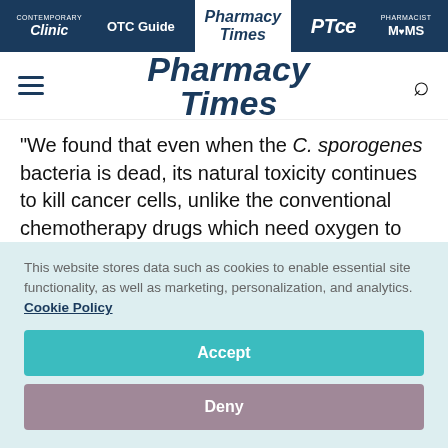Clinic | OTC Guide | Pharmacy Times | PTce | Pharmacist MOMS
[Figure (logo): Pharmacy Times logo with hamburger menu and search icon]
"We found that even when the C. sporogenes bacteria is dead, its natural toxicity continues to kill cancer cells, unlike the conventional chemotherapy drugs which need oxygen to work," study leader Professor Teoh Swee Hin
This website stores data such as cookies to enable essential site functionality, as well as marketing, personalization, and analytics. Cookie Policy
Accept
Deny